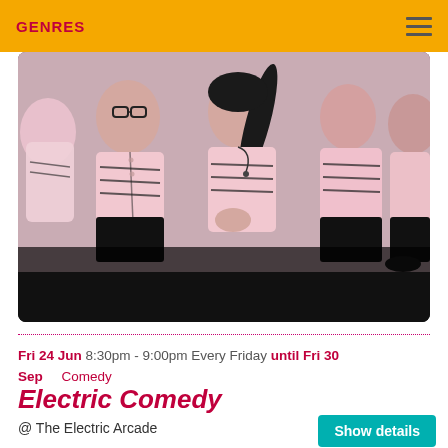GENRES
[Figure (photo): Group of people wearing matching pink and black sports jerseys standing together in a row]
Fri 24 Jun 8:30pm - 9:00pm Every Friday until Fri 30 Sep   Comedy
Electric Comedy
@ The Electric Arcade
Show details